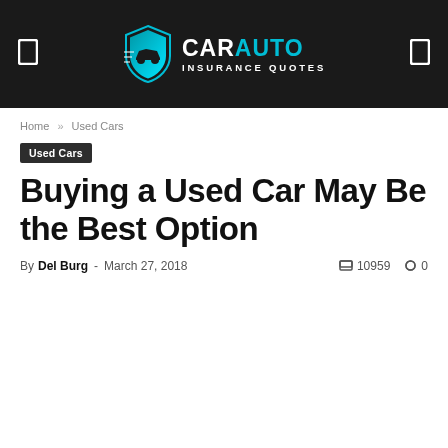CAR AUTO INSURANCE QUOTES
Home » Used Cars
Used Cars
Buying a Used Car May Be the Best Option
By Del Burg - March 27, 2018   10959   0